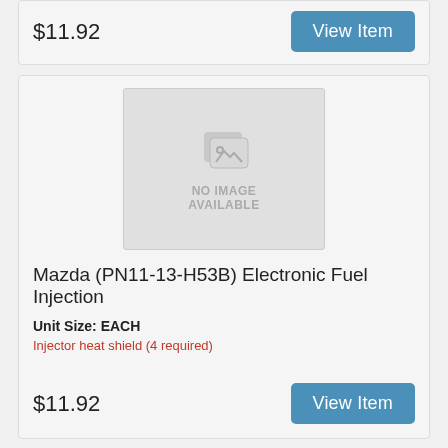$11.92
View Item
[Figure (other): No image available placeholder with image icon and text 'NO IMAGE AVAILABLE']
Mazda (PN11-13-H53B) Electronic Fuel Injection
Unit Size: EACH
Injector heat shield (4 required)
$11.92
View Item
Previous  1  2  3  4  5  ...  Next